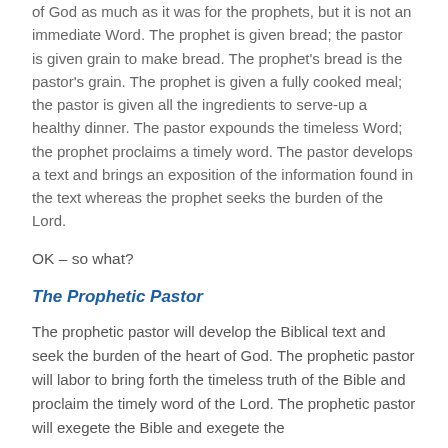of God as much as it was for the prophets, but it is not an immediate Word.  The prophet is given bread; the pastor is given grain to make bread.  The prophet's bread is the pastor's grain.  The prophet is given a fully cooked meal; the pastor is given all the ingredients to serve-up a healthy dinner.   The pastor expounds the timeless Word; the prophet proclaims a timely word.  The pastor develops a text and brings an exposition of the information found in the text whereas the prophet seeks the burden of the Lord.
OK – so what?
The Prophetic Pastor
The prophetic pastor will develop the Biblical text and seek the burden of the heart of God.  The prophetic pastor will labor to bring forth the timeless truth of the Bible and proclaim the timely word of the Lord.  The prophetic pastor will exegete the Bible and exegete the